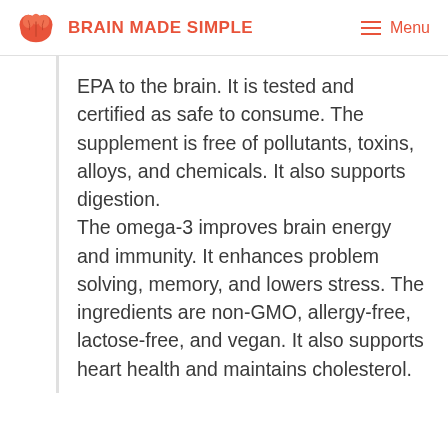BRAIN MADE SIMPLE | Menu
EPA to the brain. It is tested and certified as safe to consume. The supplement is free of pollutants, toxins, alloys, and chemicals. It also supports digestion.
The omega-3 improves brain energy and immunity. It enhances problem solving, memory, and lowers stress. The ingredients are non-GMO, allergy-free, lactose-free, and vegan. It also supports heart health and maintains cholesterol.